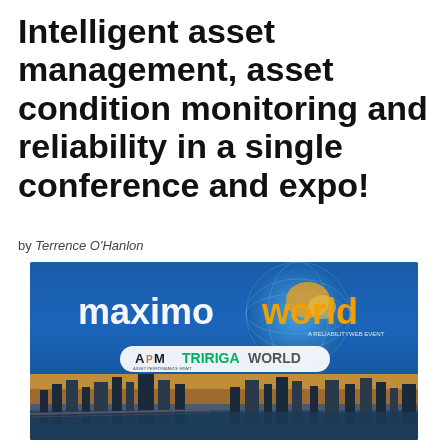Intelligent asset management, asset condition monitoring and reliability in a single conference and expo!
by Terrence O'Hanlon
[Figure (photo): MaximoWorld conference and expo banner featuring a globe logo, the text 'maximoworld A RELIABILITYWEB EVENT', and logos for 'APM' and 'TRIRIGAWORLD', over an aerial city skyline photo.]